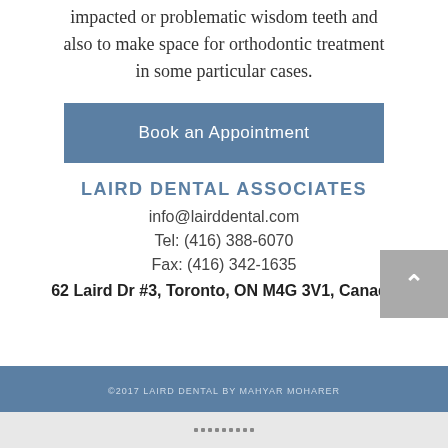impacted or problematic wisdom teeth and also to make space for orthodontic treatment in some particular cases.
Book an Appointment
LAIRD DENTAL ASSOCIATES
info@lairddental.com
Tel: (416) 388-6070
Fax: (416) 342-1635
62 Laird Dr #3, Toronto, ON M4G 3V1, Canada
©2017 LAIRD DENTAL BY MAHYAR MOHARER